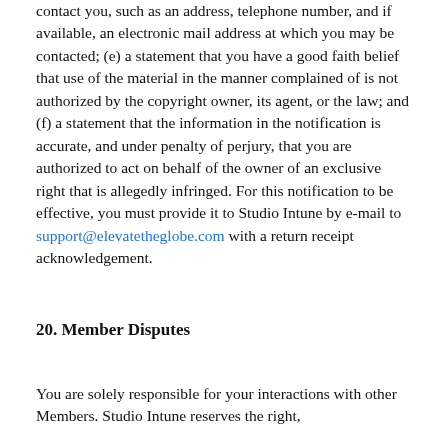contact you, such as an address, telephone number, and if available, an electronic mail address at which you may be contacted; (e) a statement that you have a good faith belief that use of the material in the manner complained of is not authorized by the copyright owner, its agent, or the law; and (f) a statement that the information in the notification is accurate, and under penalty of perjury, that you are authorized to act on behalf of the owner of an exclusive right that is allegedly infringed. For this notification to be effective, you must provide it to Studio Intune by e-mail to support@elevatetheglobe.com with a return receipt acknowledgement.
20. Member Disputes
You are solely responsible for your interactions with other Members. Studio Intune reserves the right, but has no obligation to monitor disputes...